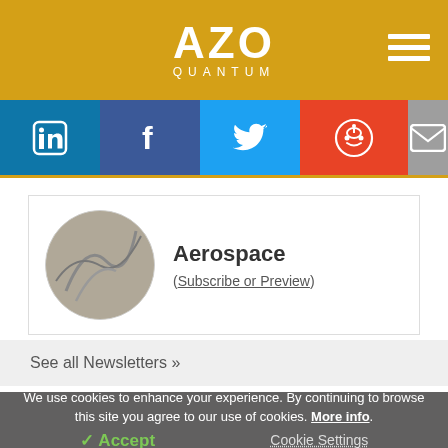AZO QUANTUM
[Figure (logo): AZO Quantum logo in white text on gold/yellow background with hamburger menu icon]
[Figure (infographic): Social media icon bar: LinkedIn (blue), Facebook (dark blue), Twitter (light blue), Reddit (orange-red), Email (gray)]
Aerospace
(Subscribe or Preview)
See all Newsletters »
We use cookies to enhance your experience. By continuing to browse this site you agree to our use of cookies. More info.
✓ Accept   Cookie Settings